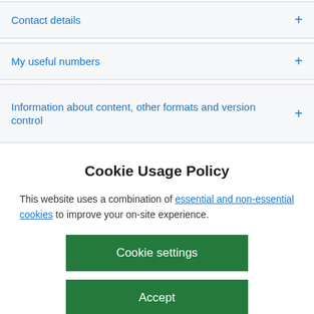Contact details
My useful numbers
Information about content, other formats and version control
Cookie Usage Policy
This website uses a combination of essential and non-essential cookies to improve your on-site experience.
Cookie settings
Accept